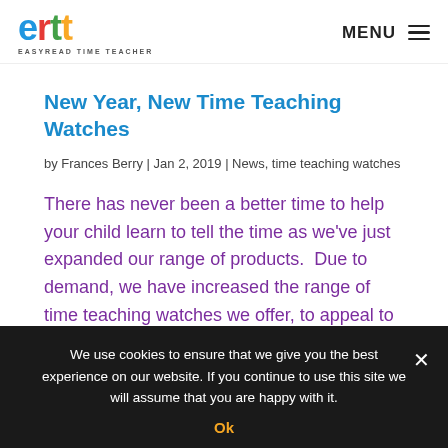ertt EASYREAD TIME TEACHER | MENU
New Year, New Time Teaching Watches
by Frances Berry | Jan 2, 2019 | News, time teaching watches
There has never been a better time to help your child learn to tell the time as we've just expanded our range of products.  Due to demand, we have increased the range of time teaching watches we offer, to appeal to your
We use cookies to ensure that we give you the best experience on our website. If you continue to use this site we will assume that you are happy with it.
Ok